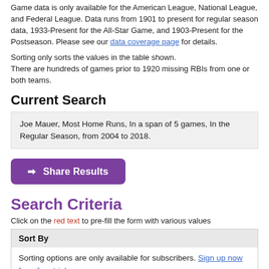Game data is only available for the American League, National League, and Federal League. Data runs from 1901 to present for regular season data, 1933-Present for the All-Star Game, and 1903-Present for the Postseason. Please see our data coverage page for details.
Sorting only sorts the values in the table shown.
There are hundreds of games prior to 1920 missing RBIs from one or both teams.
Current Search
Joe Mauer, Most Home Runs, In a span of 5 games, In the Regular Season, from 2004 to 2018.
➡ Share Results
Search Criteria
Click on the red text to pre-fill the form with various values
Sort By
Sorting options are only available for subscribers. Sign up now for a free trial.